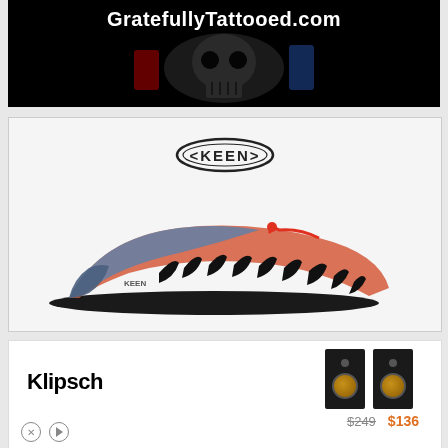[Figure (photo): Dark advertisement banner for GratefullyTattooed.com with white text and skull imagery on black background]
[Figure (photo): KEEN shoe brand advertisement showing a colorful sandal/shoe with black rubber straps and coral/blue upper on light grey background with KEEN oval logo]
[Figure (photo): Klipsch speaker advertisement showing two black bookshelf speakers with gold cones, brand name Klipsch, original price $249 crossed out and sale price $136 in orange]